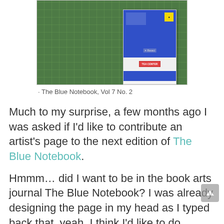[Figure (photo): Photo of a blue notebook or zine standing upright on a green cutting mat, with stickers and a 'TEA CENTER' label visible on the cover.]
The Blue Notebook, Vol 7 No. 2
Much to my surprise, a few months ago I was asked if I'd like to contribute an artist's page to the next edition of The Blue Notebook.
Hmmm… did I want to be in the book arts journal The Blue Notebook? I was already designing the page in my head as I typed back that, yeah, I think I'd like to do that(!). I